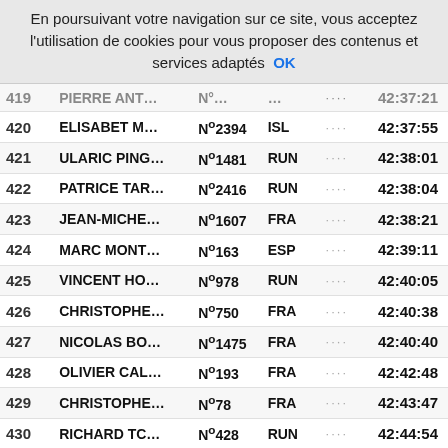En poursuivant votre navigation sur ce site, vous acceptez l'utilisation de cookies pour vous proposer des contenus et services adaptés  OK
| Rank | Name | Number | Country |  | Time |
| --- | --- | --- | --- | --- | --- |
| 419 | PIERRE ANT… | N°… | … | ···· | 42:37:21 |
| 420 | ELISABET M… | N°2394 | ISL | ···· | 42:37:55 |
| 421 | ULARIC PING… | N°1481 | RUN | ···· | 42:38:01 |
| 422 | PATRICE TAR… | N°2416 | RUN | ···· | 42:38:04 |
| 423 | JEAN-MICHE… | N°1607 | FRA | ···· | 42:38:21 |
| 424 | MARC MONT… | N°163 | ESP | ···· | 42:39:11 |
| 425 | VINCENT HO… | N°978 | RUN | ···· | 42:40:05 |
| 426 | CHRISTOPHE… | N°750 | FRA | ···· | 42:40:38 |
| 427 | NICOLAS BO… | N°1475 | FRA | ···· | 42:40:40 |
| 428 | OLIVIER CAL… | N°193 | FRA | ···· | 42:42:48 |
| 429 | CHRISTOPHE… | N°78 | FRA | ···· | 42:43:47 |
| 430 | RICHARD TC… | N°428 | RUN | ···· | 42:44:54 |
| 431 | DAVID GLEIZE | N°221 | RUN | ···· | 42:45:09 |
| 432 | MARTIEN JA… | N°1435 | RUN | ···· | 42:45:55 |
| 433 | PASCAL PITT… | N°749 | CHE | ···· | 42:48:15 |